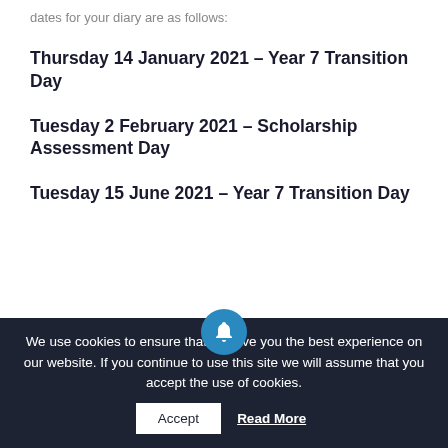dates for your diary are as follows:
Thursday 14 January 2021 – Year 7 Transition Day
Tuesday 2 February 2021 – Scholarship Assessment Day
Tuesday 15 June 2021 – Year 7 Transition Day
A-level Results Day 2022
We use cookies to ensure that we give you the best experience on our website. If you continue to use this site we will assume that you accept the use of cookies.